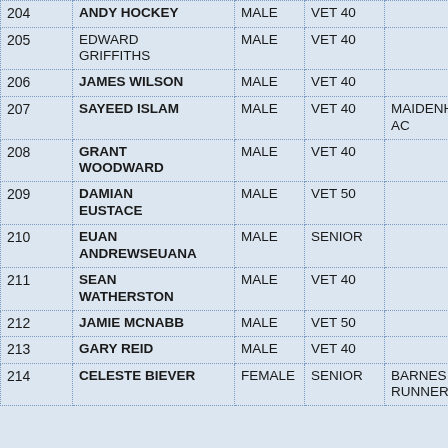| # | Name | Gender | Category | Club |
| --- | --- | --- | --- | --- |
| 204 | ANDY HOCKEY | MALE | VET 40 |  |
| 205 | EDWARD GRIFFITHS | MALE | VET 40 |  |
| 206 | JAMES WILSON | MALE | VET 40 |  |
| 207 | SAYEED ISLAM | MALE | VET 40 | MAIDENHEAD AC |
| 208 | GRANT WOODWARD | MALE | VET 40 |  |
| 209 | DAMIAN EUSTACE | MALE | VET 50 |  |
| 210 | EUAN ANDREWSEUANA | MALE | SENIOR |  |
| 211 | SEAN WATHERSTON | MALE | VET 40 |  |
| 212 | JAMIE MCNABB | MALE | VET 50 |  |
| 213 | GARY REID | MALE | VET 40 |  |
| 214 | CELESTE BIEVER | FEMALE | SENIOR | BARNES RUNNERS |